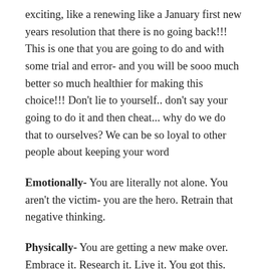exciting, like a renewing like a January first new years resolution that there is no going back!!! This is one that you are going to do and with some trial and error- and you will be sooo much better so much healthier for making this choice!!! Don't lie to yourself.. don't say your going to do it and then cheat... why do we do that to ourselves? We can be so loyal to other people about keeping your word
Emotionally- You are literally not alone. You aren't the victim- you are the hero. Retrain that negative thinking.
Physically- You are getting a new make over. Embrace it. Research it. Live it. You got this.